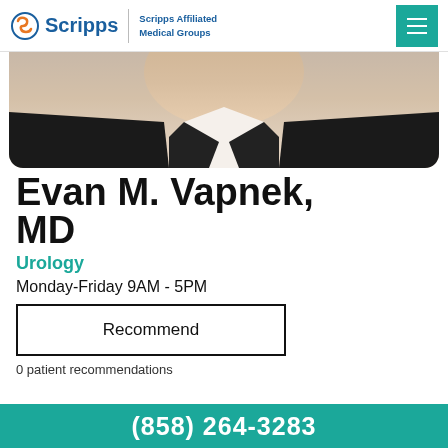Scripps | Scripps Affiliated Medical Groups
[Figure (photo): Partial photo of Dr. Evan M. Vapnek, showing neck/chin area with dark jacket and white shirt]
Evan M. Vapnek, MD
Urology
Monday-Friday 9AM - 5PM
Recommend
0 patient recommendations
(858) 264-3283